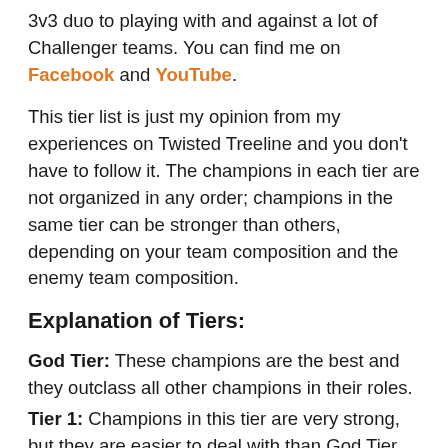3v3 duo to playing with and against a lot of Challenger teams. You can find me on Facebook and YouTube.
This tier list is just my opinion from my experiences on Twisted Treeline and you don't have to follow it. The champions in each tier are not organized in any order; champions in the same tier can be stronger than others, depending on your team composition and the enemy team composition.
Explanation of Tiers:
God Tier: These champions are the best and they outclass all other champions in their roles.
Tier 1: Champions in this tier are very strong, but they are easier to deal with than God Tier champions.